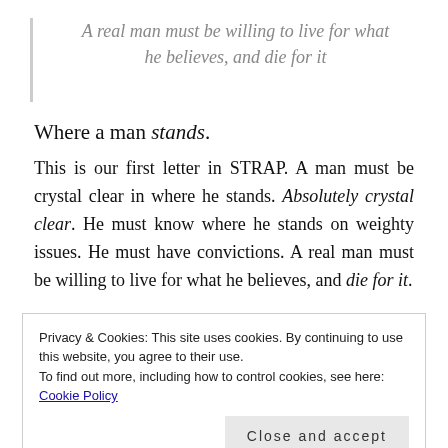A real man must be willing to live for what he believes, and die for it
Where a man stands.
This is our first letter in STRAP. A man must be crystal clear in where he stands. Absolutely crystal clear. He must know where he stands on weighty issues. He must have convictions. A real man must be willing to live for what he believes, and die for it.
Privacy & Cookies: This site uses cookies. By continuing to use this website, you agree to their use.
To find out more, including how to control cookies, see here: Cookie Policy
Close and accept
passive activity. It is a very active role. An extremely active